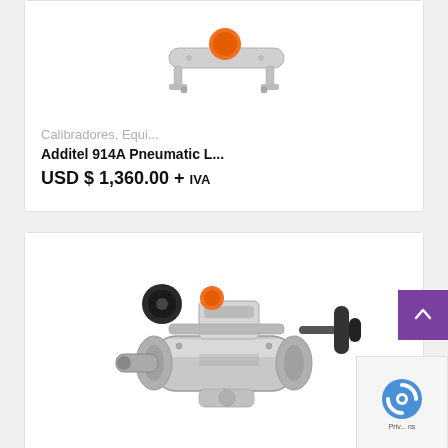[Figure (photo): Additel 914A Pneumatic deadweight tester device shown from above on white background, with orange disc and chrome frame]
Calibradores, Equi...
Additel 914A Pneumatic L...
USD $ 1,360.00 + IVA
[Figure (photo): Pneumatic pressure hand pump/deadweight tester device, silver/chrome body with black knobs and orange button, shown at an angle on white background]